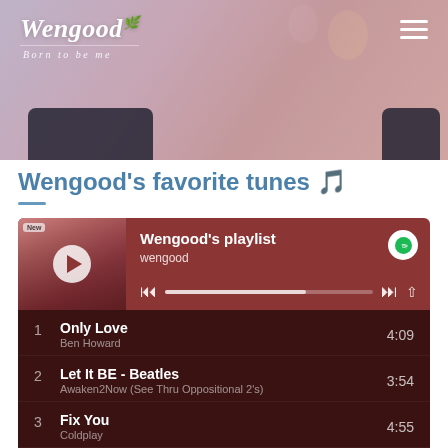Wengood - Born to be me
Wengood's favorite tunes 🎵
[Figure (screenshot): Spotify-style music player widget showing Wengood's playlist with playback controls, progress bar, and Spotify logo]
1 Only Love - Ben Howard 4:09
2 Let It BE - Beatles - Awaken2Now (See Thru Oppositional 2's) 3:54
3 Fix You - Coldplay 4:55
4 Beautiful Day - U2 4:06